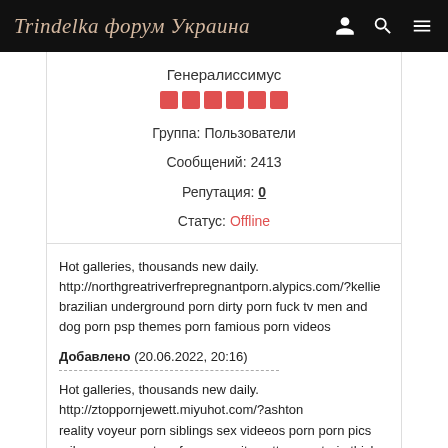Trindelka форум Украина
Генералиссимус
Группа: Пользователи
Сообщений: 2413
Репутация: 0
Статус: Offline
Hot galleries, thousands new daily.
http://northgreatriverfrepregnantporn.alypics.com/?kellie
brazilian underground porn dirty porn fuck tv men and dog porn psp themes porn famious porn videos
Добавлено (20.06.2022, 20:16)
Hot galleries, thousands new daily.
http://ztoppornjewett.miyuhot.com/?ashton
reality voyeur porn siblings sex videeos porn porn pics miley cyrus amatuer free porn sites ottawa ontario thick black phat ass porn